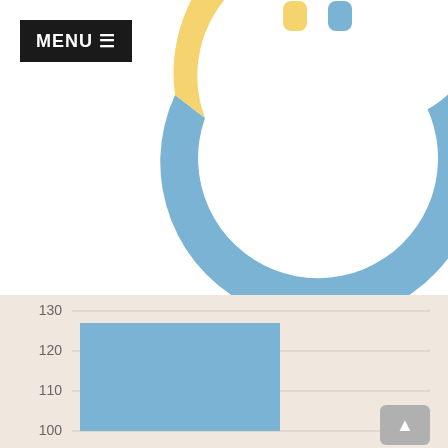[Figure (donut-chart): Partial donut chart with blue and yellow segments visible at top of page, with person icons in center]
[Figure (bar-chart): Bar chart showing enrollment by ethnicity, y-axis visible from 100 to 130, one blue bar visible reaching approximately 127]
ENROLLMENT BY ETHNICITY